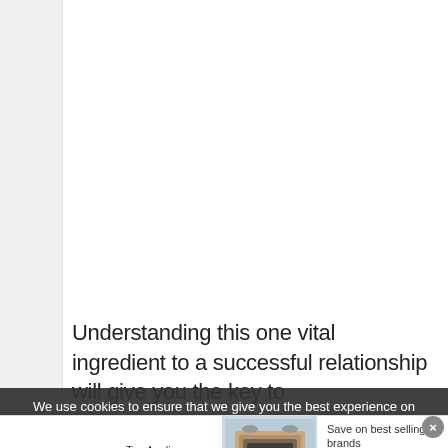Understanding this one vital ingredient to a successful relationship will give you the key to understanding relationships...
We use cookies to ensure that we give you the best experience on
[Figure (infographic): Wayfair advertisement banner: logo with colorful star, 'Top Appliances Low Prices' copy, image of a kitchen range/stove in champagne color, 'Save on best selling brands that live up to the hype' and a purple 'Shop now' button]